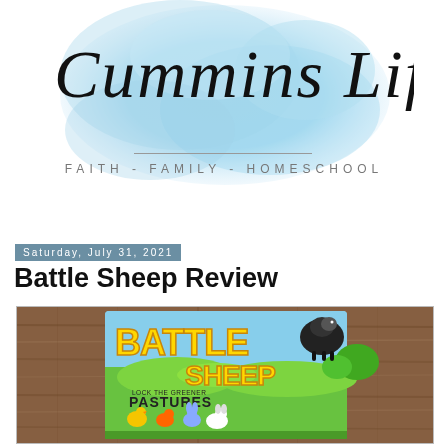[Figure (logo): Cummins Life blog logo with blue watercolor background splash, cursive script text 'Cummins Life', horizontal divider line, and tagline 'FAITH - FAMILY - HOMESCHOOL']
Saturday, July 31, 2021
Battle Sheep Review
[Figure (photo): Photo of the Battle Sheep board game box on a wooden table surface. The box shows cartoon sheep characters and reads 'BATTLE SHEEP - LOCK THE GREENER PASTURES']